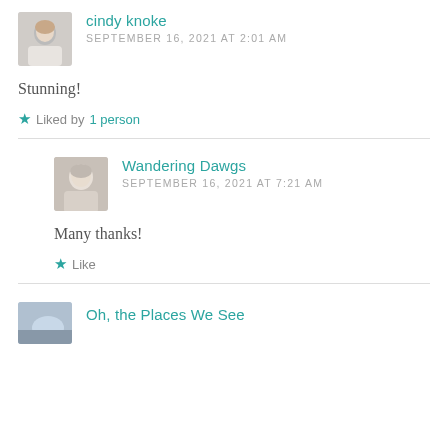cindy knoke
SEPTEMBER 16, 2021 AT 2:01 AM
Stunning!
★ Liked by 1 person
Wandering Dawgs
SEPTEMBER 16, 2021 AT 7:21 AM
Many thanks!
★ Like
Oh, the Places We See